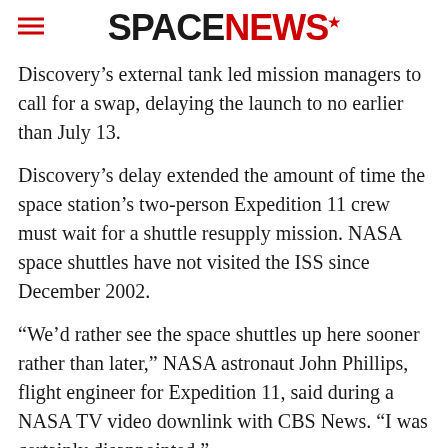SPACENEWS
Discovery’s external tank led mission managers to call for a swap, delaying the launch to no earlier than July 13.
Discovery’s delay extended the amount of time the space station’s two-person Expedition 11 crew must wait for a shuttle resupply mission. NASA space shuttles have not visited the ISS since December 2002.
“We’d rather see the space shuttles up here sooner rather than later,” NASA astronaut John Phillips, flight engineer for Expedition 11, said during a NASA TV video downlink with CBS News. “I was certainly disappointed.”
But astronauts generally agree that paying strict